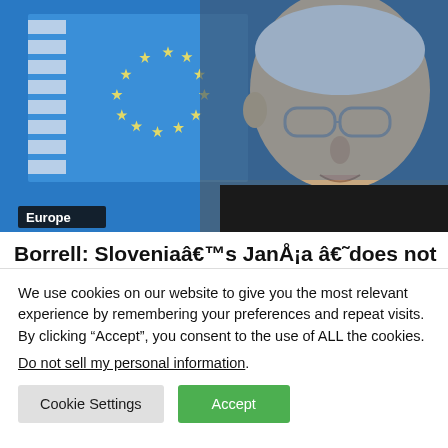[Figure (photo): Man speaking in front of EU flag background with blue backdrop and circle of stars. Label 'Europe' in bottom left corner.]
Borrell: Sloveniaâ€™s JanÅ¡a â€˜does not
We use cookies on our website to give you the most relevant experience by remembering your preferences and repeat visits. By clicking “Accept”, you consent to the use of ALL the cookies.
Do not sell my personal information.
Cookie Settings    Accept